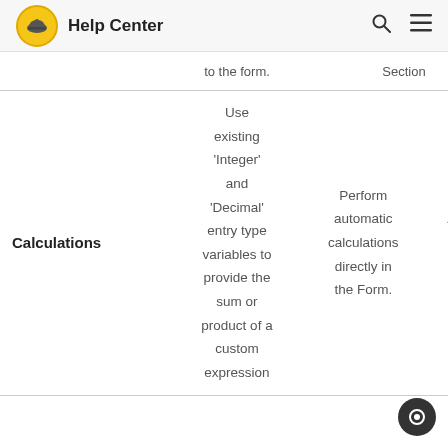Help Center
to the form.
Section
Use existing 'Integer' and 'Decimal' entry type variables to provide the sum or product of a custom expression
Calculations
Perform automatic calculations directly in the Form.
Available in Form Tables